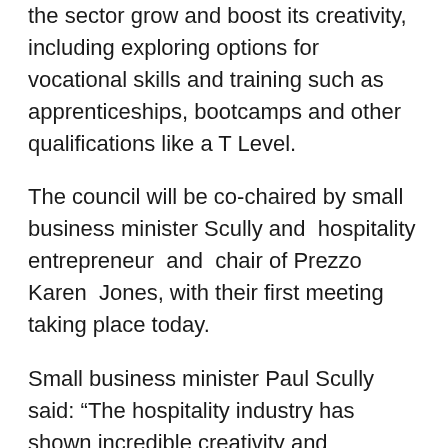the sector grow and boost its creativity, including exploring options for vocational skills and training such as apprenticeships, bootcamps and other qualifications like a T Level.
The council will be co-chaired by small business minister Scully and hospitality entrepreneur and chair of Prezzo Karen Jones, with their first meeting taking place today.
Small business minister Paul Scully said: “The hospitality industry has shown incredible creativity and resourcefulness through the pandemic, pivoting to new ways of doing business like al fresco dining and takeaway pints to stay safe, meet